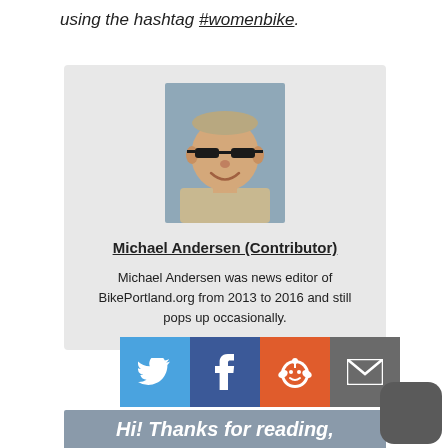using the hashtag #womenbike.
[Figure (photo): Headshot photo of Michael Andersen, a smiling man with glasses and short hair, in a light-colored shirt, against a blurred outdoor background.]
Michael Andersen (Contributor)
Michael Andersen was news editor of BikePortland.org from 2013 to 2016 and still pops up occasionally.
[Figure (infographic): Social share buttons: Twitter (blue bird), Facebook (blue 'f'), Reddit (orange alien), Email (grey envelope)]
Hi! Thanks for reading,